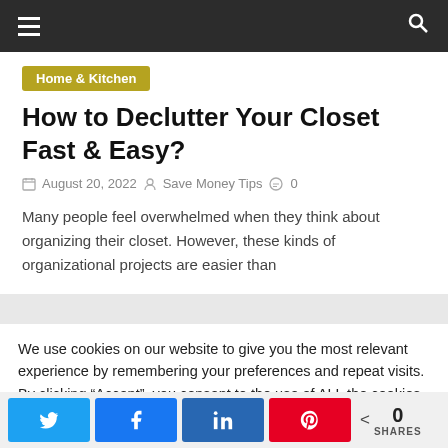Navigation bar with hamburger menu and search icon
Home & Kitchen
How to Declutter Your Closet Fast & Easy?
August 20, 2022  Save Money Tips  0
Many people feel overwhelmed when they think about organizing their closet. However, these kinds of organizational projects are easier than
We use cookies on our website to give you the most relevant experience by remembering your preferences and repeat visits. By clicking “Accept”, you consent to the use of ALL the cookies.
Cookie settings  ACCEPT
< 0 SHARES